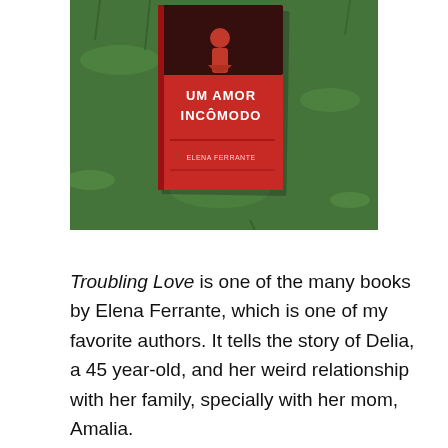[Figure (photo): A red book titled 'Um Amor Incômodo' (Troubling Love by Elena Ferrante, Portuguese edition) lying on green grass. The book cover shows a stylized illustration in red with text visible.]
Troubling Love is one of the many books by Elena Ferrante, which is one of my favorite authors. It tells the story of Delia, a 45 year-old, and her weird relationship with her family, specially with her mom, Amalia.
The story starts with Delia coming back to Naples, her hometown, for the funeral of Amalia, whom mysteriously drowned in